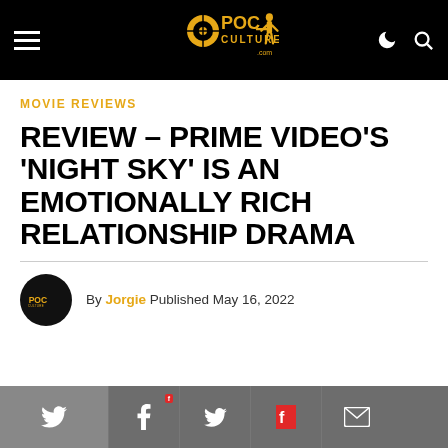POC Culture (logo header with navigation icons)
MOVIE REVIEWS
REVIEW – PRIME VIDEO'S 'NIGHT SKY' IS AN EMOTIONALLY RICH RELATIONSHIP DRAMA
By Jorgie Published May 16, 2022
[Figure (other): Social share bar with Twitter, Facebook, Flipboard, Twitter, Flipboard, and Email icons]